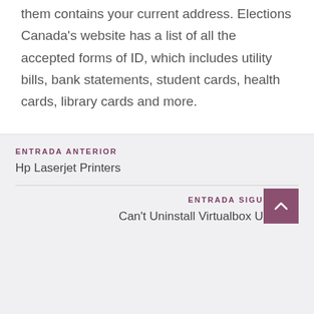them contains your current address. Elections Canada's website has a list of all the accepted forms of ID, which includes utility bills, bank statements, student cards, health cards, library cards and more.
ENTRADA ANTERIOR
Hp Laserjet Printers
ENTRADA SIGUIENTE
Can't Uninstall Virtualbox Ubuntu